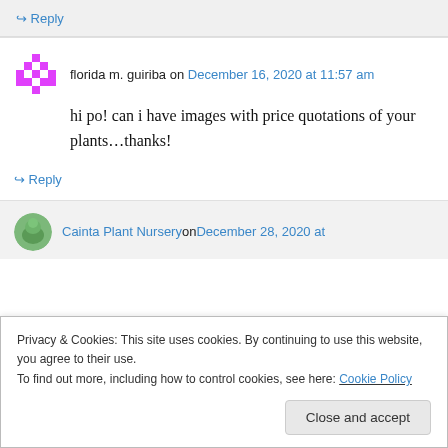↳ Reply
florida m. guiriba on December 16, 2020 at 11:57 am
hi po! can i have images with price quotations of your plants...thanks!
↳ Reply
Cainta Plant Nursery on December 28, 2020 at
Privacy & Cookies: This site uses cookies. By continuing to use this website, you agree to their use.
To find out more, including how to control cookies, see here: Cookie Policy
Close and accept